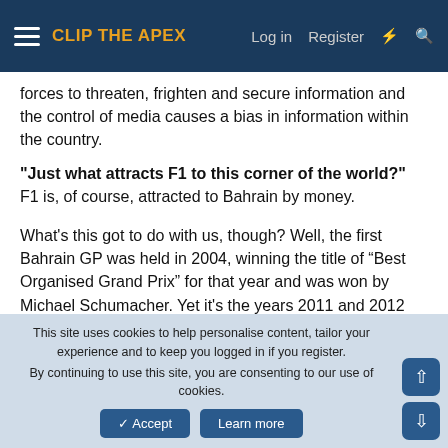CLIP THE APEX
forces to threaten, frighten and secure information and the control of media causes a bias in information within the country.
"Just what attracts F1 to this corner of the world?" F1 is, of course, attracted to Bahrain by money.
What's this got to do with us, though? Well, the first Bahrain GP was held in 2004, winning the title of “Best Organised Grand Prix” for that year and was won by Michael Schumacher. Yet it's the years 2011 and 2012 which have caused most discussion due to the cancellation in ’11 and non-cancellation in ‘12. Vettel’s Championship in ’11 would not have been altered had an additional GP been run, neither would his 2012 victory
This site uses cookies to help personalise content, tailor your experience and to keep you logged in if you register. By continuing to use this site, you are consenting to our use of cookies.